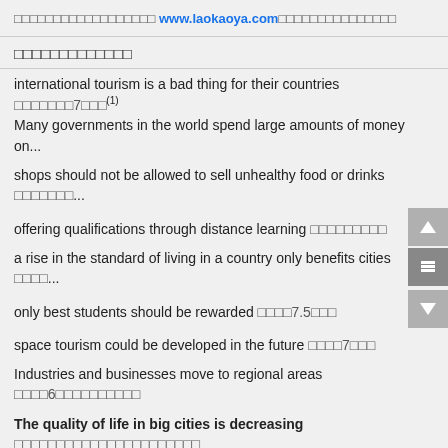□□□□□□□□□□□□□□□□□□ www.laokaoya.com□□□□□□□□□□□□□□□
□□□□□□□□□□□□□
international tourism is a bad thing for their countries □□□□□□□7□□□(1) Many governments in the world spend large amounts of money on...
shops should not be allowed to sell unhealthy food or drinks □□□□□□□...
offering qualifications through distance learning □□□□□□□□□
a rise in the standard of living in a country only benefits cities □□□□...
only best students should be rewarded □□□□7.5□□□
space tourism could be developed in the future □□□□7□□□
Industries and businesses move to regional areas □□□□6□□□□□□□□□□
The quality of life in big cities is decreasing □□□□□□□□□□□□□□□□□□□□□□
□□□□
□□ *